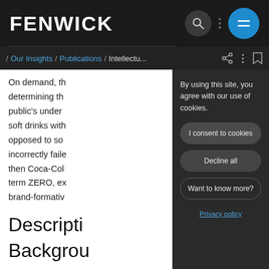FENWICK
/ Our Insights / Publications / Intellectu...
On demand, th determining th public's under soft drinks with opposed to so incorrectly faile then Coca-Col term ZERO, ex brand-formativ
By using this site, you agree with our use of cookies.
I consent to cookies
Decline all
Want to know more?
Privacy policy
Descripti
Backgrou